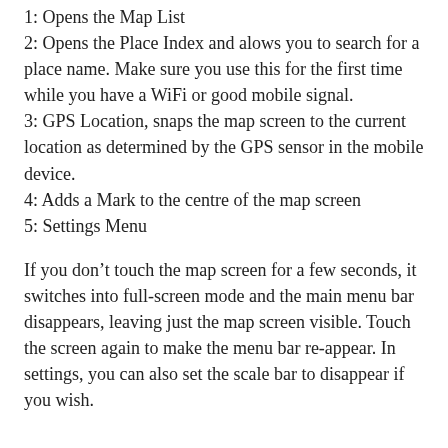1: Opens the Map List
2: Opens the Place Index and alows you to search for a place name. Make sure you use this for the first time while you have a WiFi or good mobile signal.
3: GPS Location, snaps the map screen to the current location as determined by the GPS sensor in the mobile device.
4: Adds a Mark to the centre of the map screen
5: Settings Menu
If you don’t touch the map screen for a few seconds, it switches into full-screen mode and the main menu bar disappears, leaving just the map screen visible. Touch the screen again to make the menu bar re-appear. In settings, you can also set the scale bar to disappear if you wish.